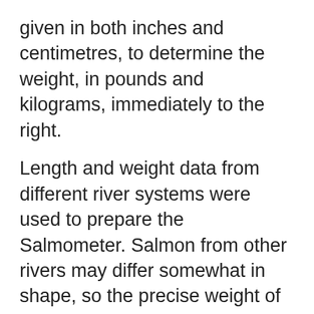given in both inches and centimetres, to determine the weight, in pounds and kilograms, immediately to the right.
Length and weight data from different river systems were used to prepare the Salmometer. Salmon from other rivers may differ somewhat in shape, so the precise weight of your salmon may be slightly higher or lower than the figure given in the Salmometer
Atlantic Salmon Federation - length/w
| Salmometer | Salmometer | Salmometer |
| --- | --- | --- |